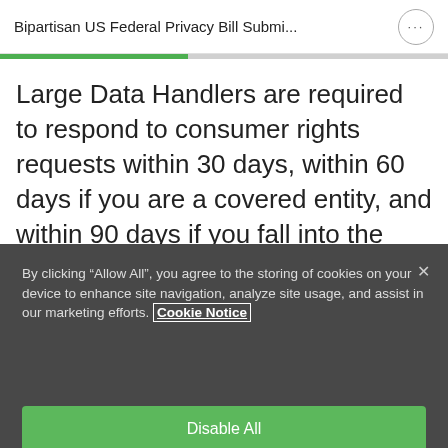Bipartisan US Federal Privacy Bill Submi...
Large Data Handlers are required to respond to consumer rights requests within 30 days, within 60 days if you are a covered entity, and within 90 days if you fall into the category of small and medium
By clicking “Allow All”, you agree to the storing of cookies on your device to enhance site navigation, analyze site usage, and assist in our marketing efforts. Cookie Notice
Customize Settings
Disable All
Allow All